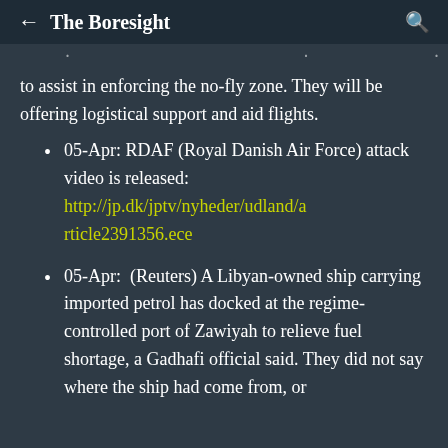The Boresight
to assist in enforcing the no-fly zone. They will be offering logistical support and aid flights.
05-Apr: RDAF (Royal Danish Air Force) attack video is released: http://jp.dk/jptv/nyheder/udland/article2391356.ece
05-Apr:  (Reuters) A Libyan-owned ship carrying imported petrol has docked at the regime-controlled port of Zawiyah to relieve fuel shortage, a Gadhafi official said. They did not say where the ship had come from, or